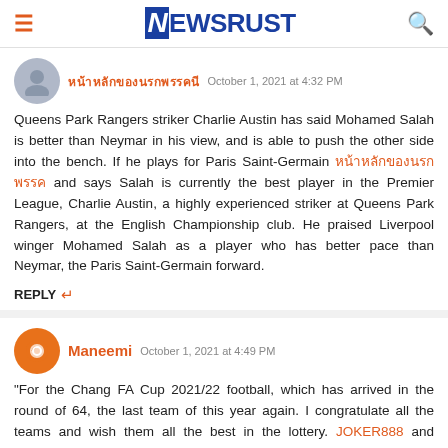NEWSRUST
Thai username  October 1, 2021 at 4:32 PM
Queens Park Rangers striker Charlie Austin has said Mohamed Salah is better than Neymar in his view, and is able to push the other side into the bench. If he plays for Paris Saint-Germain [Thai text] and says Salah is currently the best player in the Premier League, Charlie Austin, a highly experienced striker at Queens Park Rangers, at the English Championship club. He praised Liverpool winger Mohamed Salah as a player who has better pace than Neymar, the Paris Saint-Germain forward.
REPLY
Maneemi  October 1, 2021 at 4:49 PM
"For the Chang FA Cup 2021/22 football, which has arrived in the round of 64, the last team of this year again. I congratulate all the teams and wish them all the best in the lottery. JOKER888 and receive the results according to goals set And I would like to take this opportunity to thank